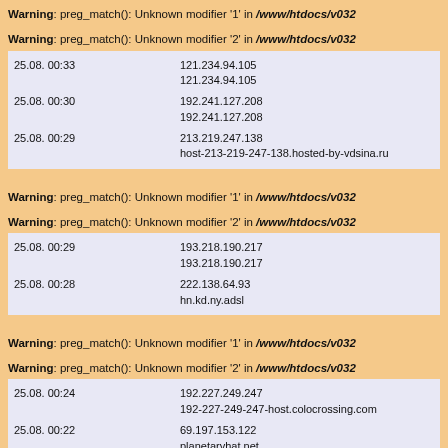Warning: preg_match(): Unknown modifier '1' in /www/htdocs/v032
Warning: preg_match(): Unknown modifier '2' in /www/htdocs/v032
| Date | IP/Host |
| --- | --- |
| 25.08. 00:33 | 121.234.94.105
121.234.94.105 |
| 25.08. 00:30 | 192.241.127.208
192.241.127.208 |
| 25.08. 00:29 | 213.219.247.138
host-213-219-247-138.hosted-by-vdsina.ru |
Warning: preg_match(): Unknown modifier '1' in /www/htdocs/v032
Warning: preg_match(): Unknown modifier '2' in /www/htdocs/v032
| Date | IP/Host |
| --- | --- |
| 25.08. 00:29 | 193.218.190.217
193.218.190.217 |
| 25.08. 00:28 | 222.138.64.93
hn.kd.ny.adsl |
Warning: preg_match(): Unknown modifier '1' in /www/htdocs/v032
Warning: preg_match(): Unknown modifier '2' in /www/htdocs/v032
| Date | IP/Host |
| --- | --- |
| 25.08. 00:24 | 192.227.249.247
192-227-249-247-host.colocrossing.com |
| 25.08. 00:22 | 69.197.153.122
planetaryhat.net |
| 25.08. 00:18 | 166.88.248.137
166.88.248.137 |